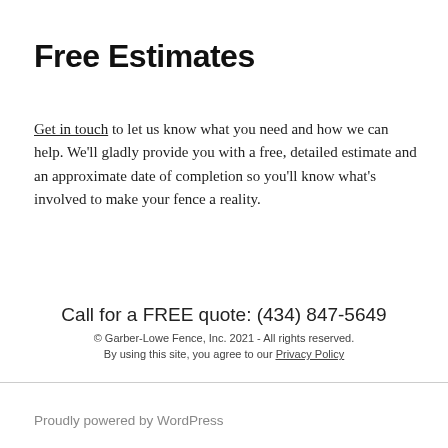Free Estimates
Get in touch to let us know what you need and how we can help. We'll gladly provide you with a free, detailed estimate and an approximate date of completion so you'll know what's involved to make your fence a reality.
Call for a FREE quote: (434) 847-5649
© Garber-Lowe Fence, Inc. 2021 - All rights reserved.
By using this site, you agree to our Privacy Policy
Proudly powered by WordPress